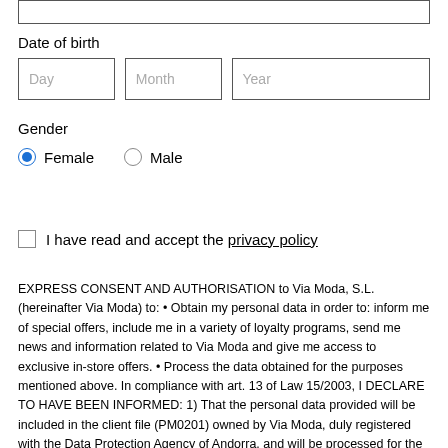[top input field]
Date of birth
Day | Month | Year
Gender
Female (selected) | Male
I have read and accept the privacy policy
EXPRESS CONSENT AND AUTHORISATION to Via Moda, S.L. (hereinafter Via Moda) to: • Obtain my personal data in order to: inform me of special offers, include me in a variety of loyalty programs, send me news and information related to Via Moda and give me access to exclusive in-store offers. • Process the data obtained for the purposes mentioned above. In compliance with art. 13 of Law 15/2003, I DECLARE TO HAVE BEEN INFORMED: 1) That the personal data provided will be included in the client file (PM0201) owned by Via Moda, duly registered with the Data Protection Agency of Andorra, and will be processed for the established purposes set out in this file and protected by the mechanisms specified therein. 2) That I will be able to exercise my rights of access, objection, rectification and erasure (to